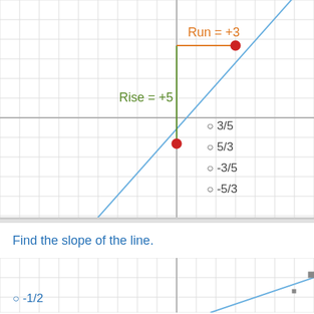[Figure (other): Coordinate grid showing a line with positive slope, with Rise=+5 labeled in green and Run=+3 labeled in orange. Two red dots mark points on the line.]
○ 3/5
○ 5/3
○ -3/5
○ -5/3
Find the slope of the line.
[Figure (other): Partial coordinate grid showing a line with a small positive slope, partially visible in the lower right corner.]
○ -1/2